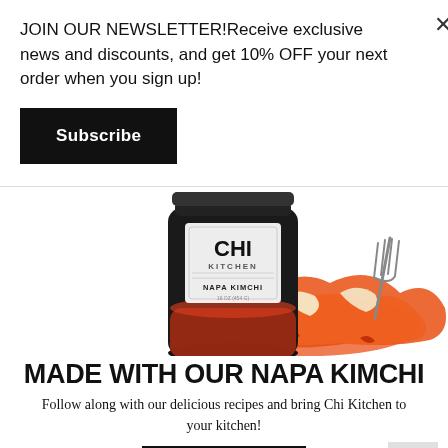JOIN OUR NEWSLETTER!Receive exclusive news and discounts, and get 10% OFF your next order when you sign up!
Subscribe
[Figure (photo): Chi Kitchen Napa Kimchi jar with fork and pile of kimchi on white background]
MADE WITH OUR NAPA KIMCHI
Follow along with our delicious recipes and bring Chi Kitchen to your kitchen!
BUY NOW